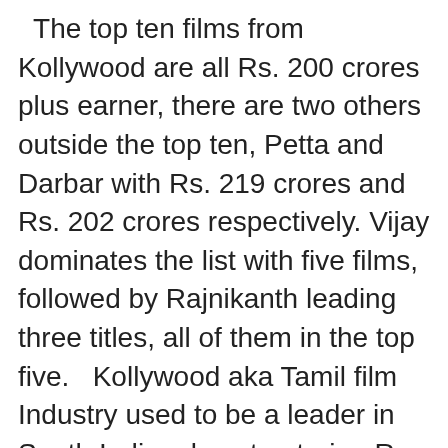The top ten films from Kollywood are all Rs. 200 crores plus earner, there are two others outside the top ten, Petta and Darbar with Rs. 219 crores and Rs. 202 crores respectively. Vijay dominates the list with five films, followed by Rajnikanth leading three titles, all of them in the top five.   Kollywood aka Tamil film Industry used to be a leader in South India, almost entering Rs. 300 crores club in 2010 but recently Tollywood has taken over the mettle, with frequent breakouts in the Hindi belt. Even in the usual markets for Tamil movies, the box office has been stagnant, with exception of Vijay who has seen some growth over the last five years. The situation is ...